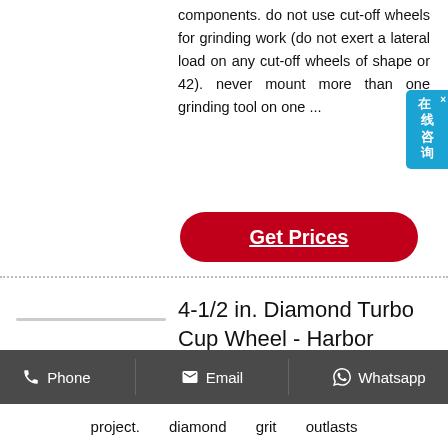components. do not use cut-off wheels for grinding work (do not exert a lateral load on any cut-off wheels of shape or 42). never mount more than one grinding tool on one ...
[Figure (other): Red rounded button labeled 'Get Prices' with white underlined text]
4-1/2 in. Diamond Turbo Cup Wheel - Harbor Freight Tools
this durable diamond cup wheel is built for grinding cured concrete, hard brick/block and hard granite. this cup
Phone   Email   Whatsapp
project. diamond grit outlasts